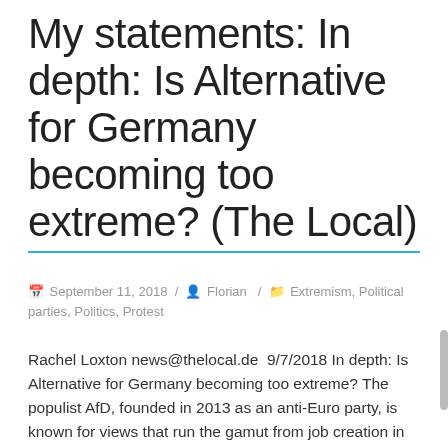My statements: In depth: Is Alternative for Germany becoming too extreme? (The Local)
September 11, 2018 / Florian / Extremism, Political parties, Politics, Protest
Rachel Loxton news@thelocal.de  9/7/2018 In depth: Is Alternative for Germany becoming too extreme? The populist AfD, founded in 2013 as an anti-Euro party, is known for views that run the gamut from job creation in deindustrialized areas to stricter caps on refugees. They provided a welcome change for many looking for an alternative to more [...]